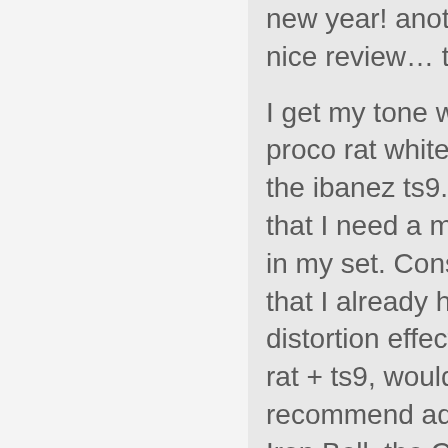new year! another very nice review... tkz!
I get my tone with the proco rat white face and the ibanez ts9. I think that I need a muff/fuzz in my set. Considering that I already have a distortion effect with the rat + ts9, would you recommend add the Iron Bell, the Colossus, the Musket or the Large Beaver in